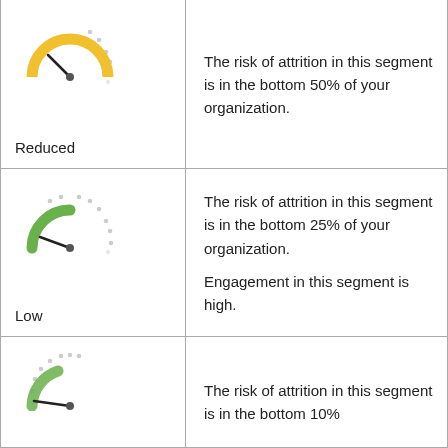[Figure (infographic): Gauge/speedometer icon with yellow arc, needle pointing to upper-left (medium-low risk). Label: Reduced]
Reduced
The risk of attrition in this segment is in the bottom 50% of your organization.
[Figure (infographic): Gauge/speedometer icon with green arc, needle pointing to lower-left (low risk). Label: Low]
Low
The risk of attrition in this segment is in the bottom 25% of your organization.
Engagement in this segment is high.
[Figure (infographic): Gauge/speedometer icon, needle pointing far left (very low risk, partial view).]
The risk of attrition in this segment is in the bottom 10%